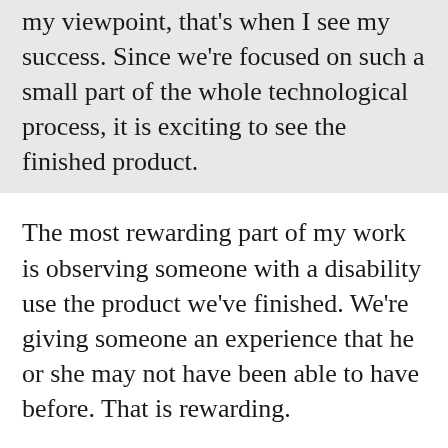my viewpoint, that's when I see my success. Since we're focused on such a small part of the whole technological process, it is exciting to see the finished product.
The most rewarding part of my work is observing someone with a disability use the product we've finished. We're giving someone an experience that he or she may not have been able to have before. That is rewarding.
Biggest Startup Challenge